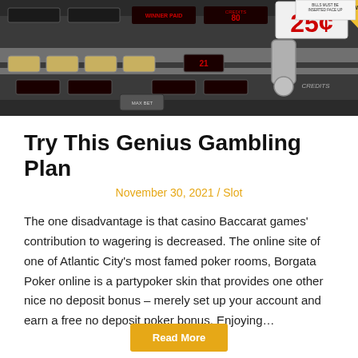[Figure (photo): Close-up photo of a 25-cent slot machine with red LED displays showing 'WINNER PAID', 'CREDITS', '80', and other casino machine controls. The machine shows a prominent '25¢' sign in red text.]
Try This Genius Gambling Plan
November 30, 2021 / Slot
The one disadvantage is that casino Baccarat games' contribution to wagering is decreased. The online site of one of Atlantic City's most famed poker rooms, Borgata Poker online is a partypoker skin that provides one other nice no deposit bonus – merely set up your account and earn a free no deposit poker bonus. Enjoying…